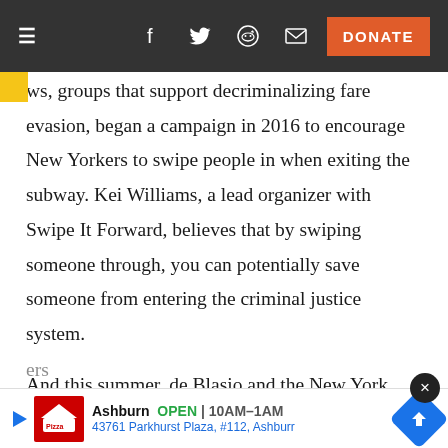≡  f  🐦  👽  ✉  DONATE
ws, groups that support decriminalizing fare evasion, began a campaign in 2016 to encourage New Yorkers to swipe people in when exiting the subway. Kei Williams, a lead organizer with Swipe It Forward, believes that by swiping someone through, you can potentially save someone from entering the criminal justice system.
And this summer, de Blasio and the New York City Council agreed to include $106 million in the city budget for Fair Fares, a program to provide half-price t[ransit to low-income New York]ers [li...]
[Figure (screenshot): Ad banner: Pizza Hut, Ashburn OPEN 10AM-1AM, 43761 Parkhurst Plaza, #112, Ashburn, with navigation arrow icon]